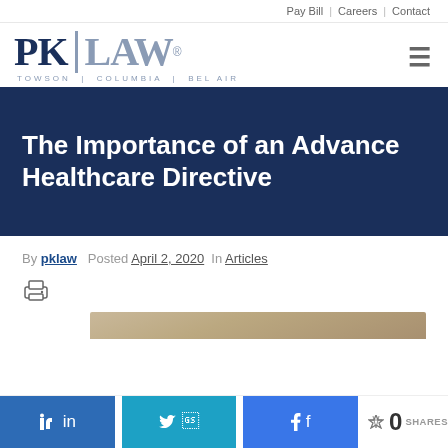Pay Bill | Careers | Contact
[Figure (logo): PK LAW logo with tagline TOWSON | COLUMBIA | BEL AIR]
The Importance of an Advance Healthcare Directive
By pklaw  Posted April 2, 2020  In Articles
[Figure (illustration): Print icon]
[Figure (photo): Partial photo visible at bottom of content area]
[Figure (infographic): Social share bar with LinkedIn, Twitter, Facebook buttons and 0 SHARES]